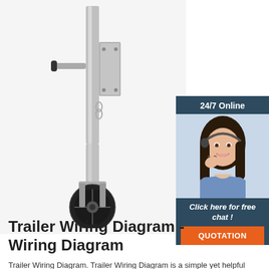[Figure (photo): Product photo of a trailer tongue jack with a black wheel at the bottom and a mounting bracket, silver/gray metal construction]
[Figure (photo): Advertisement banner: '24/7 Online' header in dark blue, photo of a smiling woman with a headset, 'Click here for free chat!' text, and an orange 'QUOTATION' button]
Trailer Wiring Diagram - Wiring Diagram
Trailer Wiring Diagram. Trailer Wiring Diagram is a simple yet helpful way to know the proper way of wiring your trailer efficiently and properly. This will avoid unwanted connections, avoid